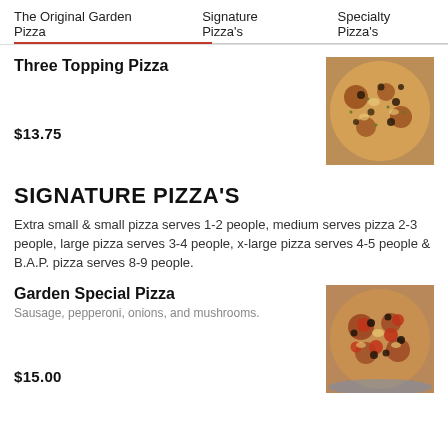The Original Garden Pizza   Signature Pizza's   Specialty Pizza's
Three Topping Pizza
$13.75
[Figure (photo): Close-up photo of a three topping pizza with various toppings including what appears to be sausage, herbs, and cheese]
SIGNATURE PIZZA'S
Extra small & small pizza serves 1-2 people, medium serves pizza 2-3 people, large pizza serves 3-4 people, x-large pizza serves 4-5 people & B.A.P. pizza serves 8-9 people.
Garden Special Pizza
Sausage, pepperoni, onions, and mushrooms.
$15.00
[Figure (photo): Close-up photo of a garden special pizza with sausage, pepperoni, onions, and mushrooms]